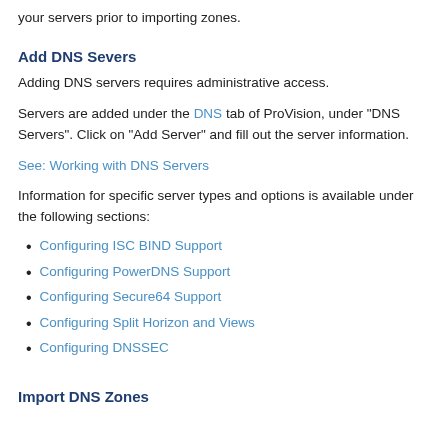your servers prior to importing zones.
Add DNS Severs
Adding DNS servers requires administrative access.
Servers are added under the DNS tab of ProVision, under "DNS Servers". Click on "Add Server" and fill out the server information.
See: Working with DNS Servers
Information for specific server types and options is available under the following sections:
Configuring ISC BIND Support
Configuring PowerDNS Support
Configuring Secure64 Support
Configuring Split Horizon and Views
Configuring DNSSEC
Import DNS Zones